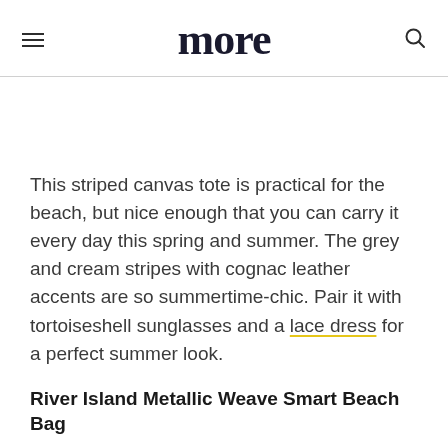more
This striped canvas tote is practical for the beach, but nice enough that you can carry it every day this spring and summer. The grey and cream stripes with cognac leather accents are so summertime-chic. Pair it with tortoiseshell sunglasses and a lace dress for a perfect summer look.
River Island Metallic Weave Smart Beach Bag